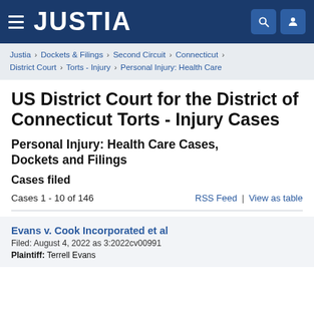JUSTIA
Justia › Dockets & Filings › Second Circuit › Connecticut › District Court › Torts - Injury › Personal Injury: Health Care
US District Court for the District of Connecticut Torts - Injury Cases
Personal Injury: Health Care Cases, Dockets and Filings
Cases filed
Cases 1 - 10 of 146
RSS Feed | View as table
Evans v. Cook Incorporated et al
Filed: August 4, 2022 as 3:2022cv00991
Plaintiff: Terrell Evans